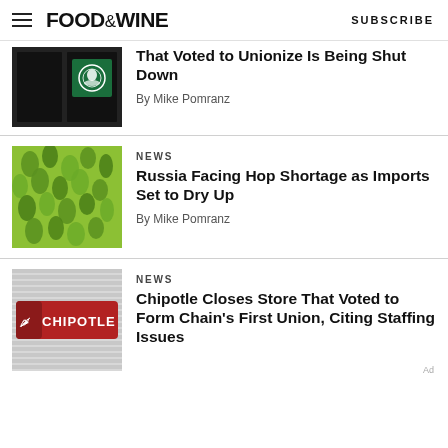FOOD&WINE | SUBSCRIBE
That Voted to Unionize Is Being Shut Down
By Mike Pomranz
NEWS
Russia Facing Hop Shortage as Imports Set to Dry Up
By Mike Pomranz
NEWS
Chipotle Closes Store That Voted to Form Chain's First Union, Citing Staffing Issues